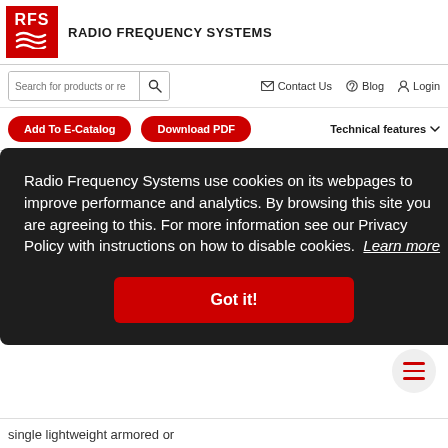RFS RADIO FREQUENCY SYSTEMS
Search for products or re | Contact Us | Blog | Login
Add To E-Catalog | Download PDF | Technical features
Related Products   Related Documents
Radio Frequency Systems use cookies on its webpages to improve performance and analytics. By browsing this site you are agreeing to this. For more information see our Privacy Policy with instructions on how to disable cookies. Learn more
Got it!
single lightweight armored or